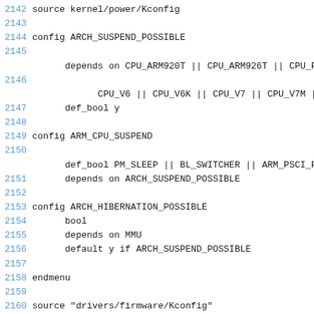2142 source kernel/power/Kconfig
2143
2144 config ARCH_SUSPEND_POSSIBLE
2145
      depends on CPU_ARM920T || CPU_ARM926T || CPU_FER
2146
            CPU_V6 || CPU_V6K || CPU_V7 || CPU_V7M |
2147       def_bool y
2148
2149 config ARM_CPU_SUSPEND
2150
      def_bool PM_SLEEP || BL_SWITCHER || ARM_PSCI_FW
2151       depends on ARCH_SUSPEND_POSSIBLE
2152
2153 config ARCH_HIBERNATION_POSSIBLE
2154       bool
2155       depends on MMU
2156       default y if ARCH_SUSPEND_POSSIBLE
2157
2158 endmenu
2159
2160 source "drivers/firmware/Kconfig"
2161
2162 if CRYPTO
2163 source "arch/arm/crypto/Kconfig"